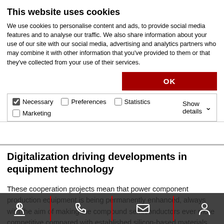This website uses cookies
We use cookies to personalise content and ads, to provide social media features and to analyse our traffic. We also share information about your use of our site with our social media, advertising and analytics partners who may combine it with other information that you've provided to them or that they've collected from your use of their services.
OK
Necessary  Preferences  Statistics  Marketing  Show details
Digitalization driving developments in equipment technology
These cooperation projects mean that power component production equipment is being permanently enhanced, always with the aim of making the compound semiconductors ever more competitive compared with established silicon-based materials. In recent years, AIXTRON developed equipment types specifically for use in the production of power electronics components made of gallium